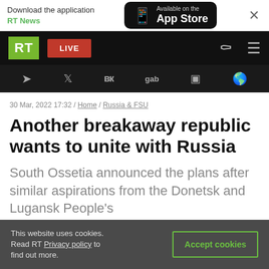Download the application RT News | Available on the App Store | ×
[Figure (screenshot): RT news website navigation bar with green RT logo, red LIVE button, search and menu icons]
[Figure (screenshot): RT social media links bar: Telegram, Twitter, VK, gab, Rumble, globe icon]
30 Mar, 2022 17:32 / Home / Russia & FSU
Another breakaway republic wants to unite with Russia
South Ossetia announced the plans after similar aspirations from the Donetsk and Lugansk People's
This website uses cookies. Read RT Privacy policy to find out more.